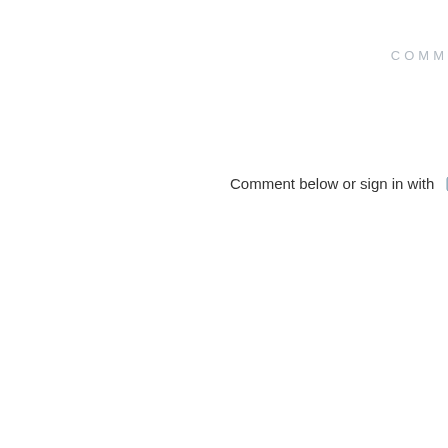COMM
Comment below or sign in with Typepad